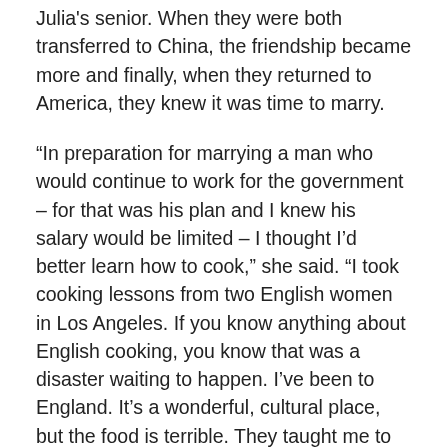Julia's senior. When they were both transferred to China, the friendship became more and finally, when they returned to America, they knew it was time to marry.
“In preparation for marrying a man who would continue to work for the government – for that was his plan and I knew his salary would be limited – I thought I’d better learn how to cook,” she said. “I took cooking lessons from two English women in Los Angeles. If you know anything about English cooking, you know that was a disaster waiting to happen. I’ve been to England. It’s a wonderful, cultural place, but the food is terrible. They taught me to make things like pancakes, but the first meal I made for my husband was more ambitious – brains simmered in red wine.
“It was nauseating,” she continued. “He laughed it off but I was determined I would learn how to cook.”
A year into their marriage, Paul took a job at the American